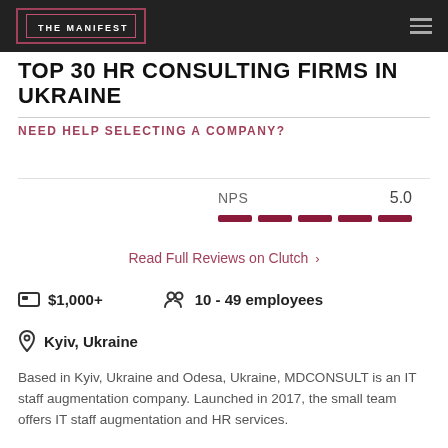THE MANIFEST
TOP 30 HR CONSULTING FIRMS IN UKRAINE
NEED HELP SELECTING A COMPANY?
NPS  5.0
Read Full Reviews on Clutch >
$1,000+   10 - 49 employees
Kyiv, Ukraine
Based in Kyiv, Ukraine and Odesa, Ukraine, MDCONSULT is an IT staff augmentation company. Launched in 2017, the small team offers IT staff augmentation and HR services.